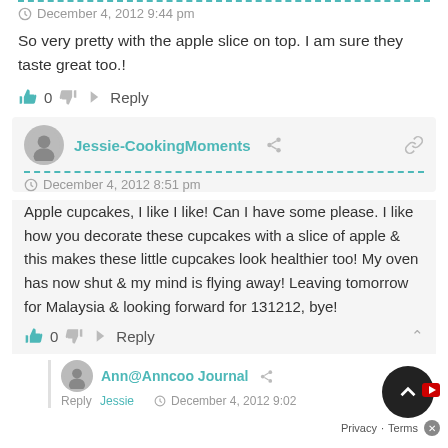December 4, 2012 9:44 pm
So very pretty with the apple slice on top. I am sure they taste great too.!
0   Reply
Jessie-CookingMoments
December 4, 2012 8:51 pm
Apple cupcakes, I like I like! Can I have some please. I like how you decorate these cupcakes with a slice of apple & this makes these little cupcakes look healthier too! My oven has now shut & my mind is flying away! Leaving tomorrow for Malaysia & looking forward for 131212, bye!
0   Reply
Ann@Anncoo Journal
Reply  Jessie      December 4, 2012 9:02